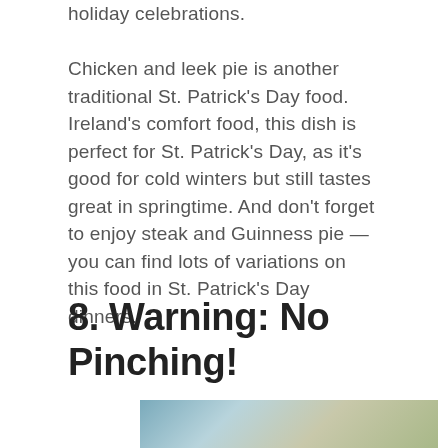holiday celebrations.
Chicken and leek pie is another traditional St. Patrick's Day food. Ireland's comfort food, this dish is perfect for St. Patrick's Day, as it's good for cold winters but still tastes great in springtime. And don't forget to enjoy steak and Guinness pie — you can find lots of variations on this food in St. Patrick's Day dinners.
8. Warning: No Pinching!
[Figure (photo): Partial photo visible at bottom of page, appears to show a scene related to St. Patrick's Day]